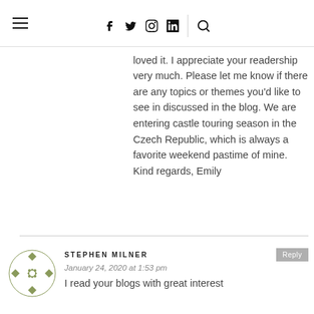Navigation header with hamburger menu, social icons (f, Twitter, Instagram, LinkedIn), and search icon
loved it. I appreciate your readership very much. Please let me know if there are any topics or themes you'd like to see in discussed in the blog. We are entering castle touring season in the Czech Republic, which is always a favorite weekend pastime of mine. Kind regards, Emily
STEPHEN MILNER
January 24, 2020 at 1:53 pm
I read your blogs with great interest
[Figure (illustration): Circular avatar icon with olive/green geometric pattern]